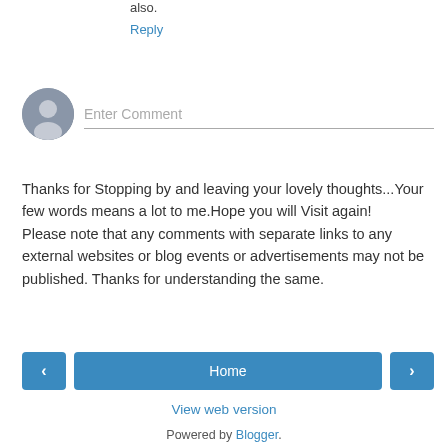also.
Reply
[Figure (illustration): Gray avatar icon circle representing a user profile picture]
Enter Comment
Thanks for Stopping by and leaving your lovely thoughts...Your few words means a lot to me.Hope you will Visit again!
Please note that any comments with separate links to any external websites or blog events or advertisements may not be published. Thanks for understanding the same.
< Home >
View web version
Powered by Blogger.